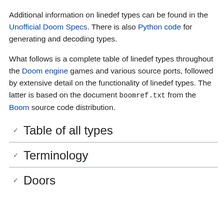Additional information on linedef types can be found in the Unofficial Doom Specs. There is also Python code for generating and decoding types.
What follows is a complete table of linedef types throughout the Doom engine games and various source ports, followed by extensive detail on the functionality of linedef types. The latter is based on the document boomref.txt from the Boom source code distribution.
Table of all types
Terminology
Doors